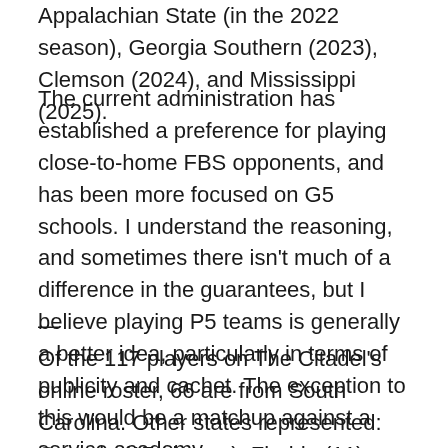Appalachian State (in the 2022 season), Georgia Southern (2023), Clemson (2024), and Mississippi (2025).
The current administration has established a preference for playing close-to-home FBS opponents, and has been more focused on G5 schools. I understand the reasoning, and sometimes there isn't much of a difference in the guarantees, but I believe playing P5 teams is generally a better idea, particularly in terms of publicity and cachet. The exception to this would be a matchup against a service academy.
—
Of the 117 players on The Citadel's online roster, 66 are from South Carolina. Other states represented: Georgia (17 players), Florida (11), North Carolina (9), Virginia (5), Alabama (2), Texas (2), and one each from New York